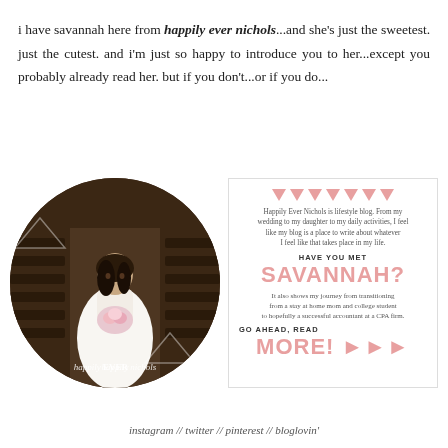i have savannah here from happily ever nichols...and she's just the sweetest. just the cutest. and i'm just so happy to introduce you to her...except you probably already read her. but if you don't...or if you do...
[Figure (photo): Circular cropped photo of a bride in a white wedding dress holding a bouquet, standing in a church aisle. Overlay text reads 'happily EVER nichols' with geometric triangle accents.]
[Figure (infographic): Promotional ad card for 'Happily Ever Nichols' lifestyle blog. Contains pink triangle bunting, description text, 'HAVE YOU MET SAVANNAH?' headline, journey description, and 'GO AHEAD, READ MORE!' call to action with arrow icons.]
instagram // twitter // pinterest // bloglovin'